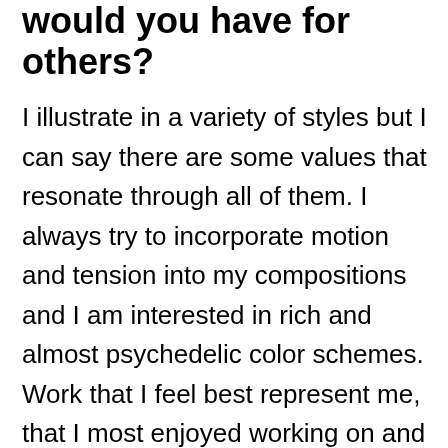would you have for others?
I illustrate in a variety of styles but I can say there are some values that resonate through all of them. I always try to incorporate motion and tension into my compositions and I am interested in rich and almost psychedelic color schemes. Work that I feel best represent me, that I most enjoyed working on and am most proud of their result are ones where I could relate to the work by tapping in to some personal emotions and incorporating them in the process. For me, it's usually feelings of mystery, fantasy or surrealism that I find I can